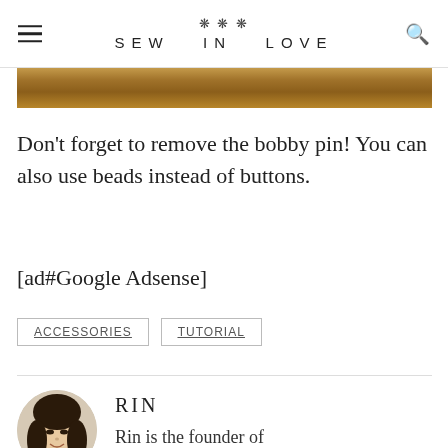SEW IN LOVE
[Figure (photo): Close-up photo of a wooden surface, warm brown tones]
Don't forget to remove the bobby pin!  You can also use beads instead of buttons.
[ad#Google Adsense]
ACCESSORIES   TUTORIAL
[Figure (photo): Circular portrait photo of a young Asian woman named Rin, smiling, with dark hair]
RIN
Rin is the founder of